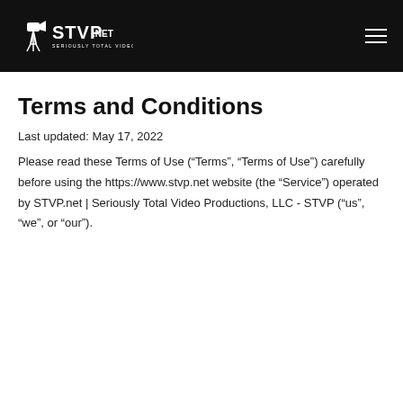[Figure (logo): STVP.NET - Seriously Total Video Productions, LLC logo in white on black background]
Terms and Conditions
Last updated: May 17, 2022
Please read these Terms of Use (“Terms”, “Terms of Use”) carefully before using the https://www.stvp.net website (the “Service”) operated by STVP.net | Seriously Total Video Productions, LLC - STVP (“us”, “we”, or “our”).